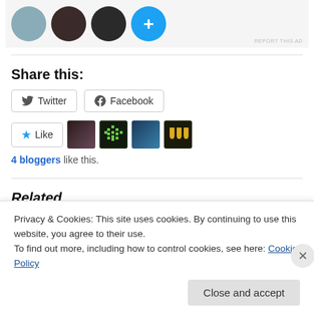[Figure (screenshot): Top banner showing circular avatars of people and a blue plus button, with 'REPORT THIS AD' text in bottom right]
Share this:
[Figure (screenshot): Twitter and Facebook share buttons with icons]
[Figure (screenshot): Like button with star icon and four blogger avatar thumbnails]
4 bloggers like this.
Related
Privacy & Cookies: This site uses cookies. By continuing to use this website, you agree to their use.
To find out more, including how to control cookies, see here: Cookie Policy
Close and accept